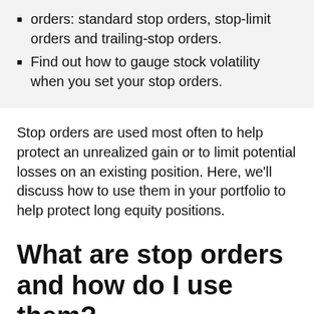orders: standard stop orders, stop-limit orders and trailing-stop orders.
Find out how to gauge stock volatility when you set your stop orders.
Stop orders are used most often to help protect an unrealized gain or to limit potential losses on an existing position. Here, we'll discuss how to use them in your portfolio to help protect long equity positions.
What are stop orders and how do I use them?